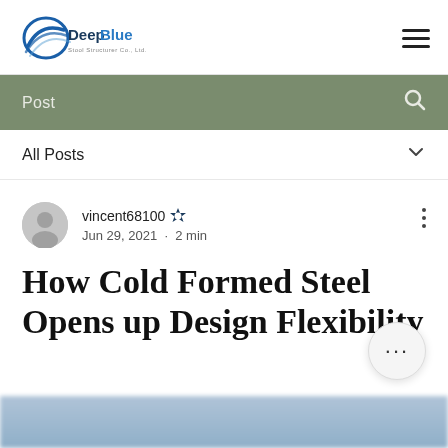[Figure (logo): DeepBlue logo with swoosh icon and company name]
Post
All Posts
vincent68100 • Jun 29, 2021 • 2 min
How Cold Formed Steel Opens up Design Flexibility
[Figure (photo): Partial blurred photo at bottom of page]